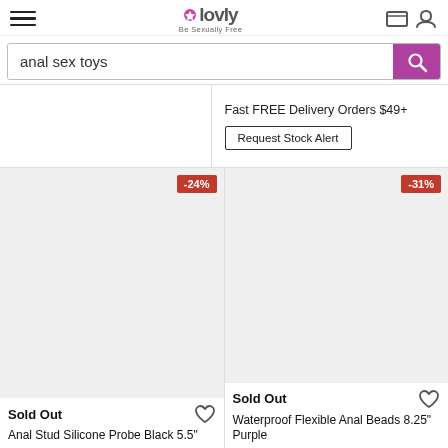Lovly – Be Sexually Free
anal sex toys
Fast FREE Delivery Orders $49+
Request Stock Alert
[Figure (screenshot): Product card with -24% discount badge, grey image placeholder, Sold Out label, heart icon]
Sold Out
Anal Stud Silicone Probe Black 5.5"
[Figure (screenshot): Product card with -31% discount badge, grey image placeholder, Sold Out label, heart icon]
Sold Out
Waterproof Flexible Anal Beads 8.25" Purple